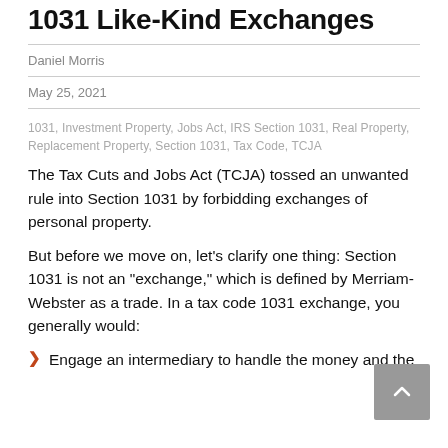1031 Like-Kind Exchanges
Daniel Morris
May 25, 2021
1031, Investment Property, Jobs Act, IRS Section 1031, Real Property, Replacement Property, Section 1031, Tax Code, TCJA
The Tax Cuts and Jobs Act (TCJA) tossed an unwanted rule into Section 1031 by forbidding exchanges of personal property.
But before we move on, let's clarify one thing: Section 1031 is not an "exchange," which is defined by Merriam-Webster as a trade. In a tax code 1031 exchange, you generally would:
Engage an intermediary to handle the money and the